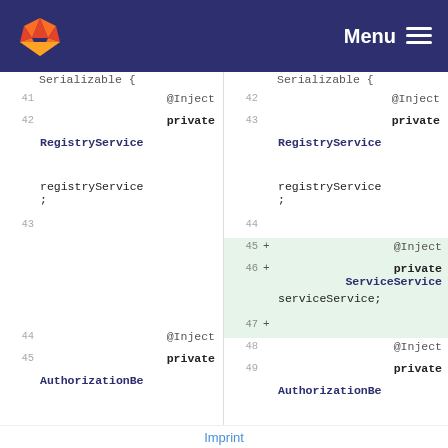GitLab — Menu
[Figure (screenshot): Code diff view showing two columns. Left column: lines 41-45 with @Inject, private, RegistryService registryService;, AuthorizationBe. Right column: lines 42-49 with @Inject, private, RegistryService registryService;, added lines 45-47 with @Inject, private ServiceService serviceService;, then @Inject, private, AuthorizationBe.]
Imprint